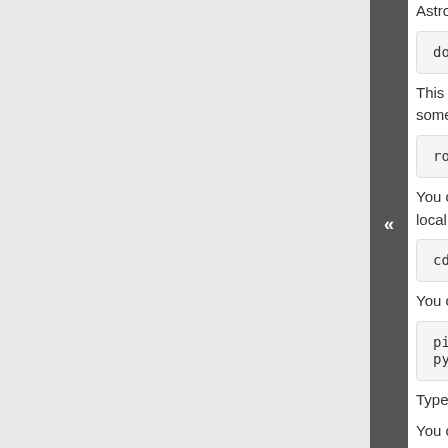Astropy repository (or the reposit...
docker run -it -v ${PWD...
This will start up a bash prompt i... something like:
root@8173d2494b0b:/#
You can now go to the /repo ... local version of the repository yo...
cd /repo
You can then run the tests as abe...
pip install -e .[test]
pytest --mpl --remote-d...
Type exit to exit the containe...
You can find the names of the av...
Writing image tests